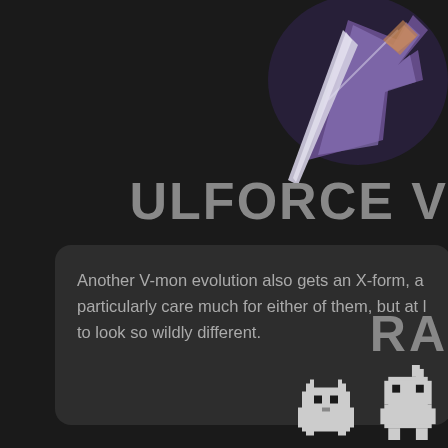[Figure (illustration): Partially visible colorful Digimon character (UlforceVeedramon or similar) in upper right, showing blue/purple/white wing or fin shapes with metallic silver accents against dark background]
ULFORCE V
Another V-mon evolution also gets an X-form, a particularly care much for either of them, but at l to look so wildly different.
RA
[Figure (illustration): Two small pixel art icons/sprites of Digimon characters in black and white, resembling 8-bit style creatures]